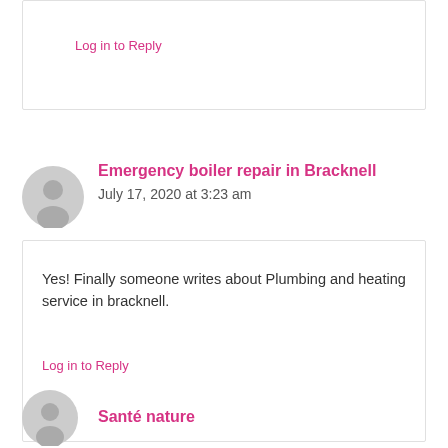Log in to Reply
Emergency boiler repair in Bracknell
July 17, 2020 at 3:23 am
Yes! Finally someone writes about Plumbing and heating service in bracknell.
Log in to Reply
Santé nature